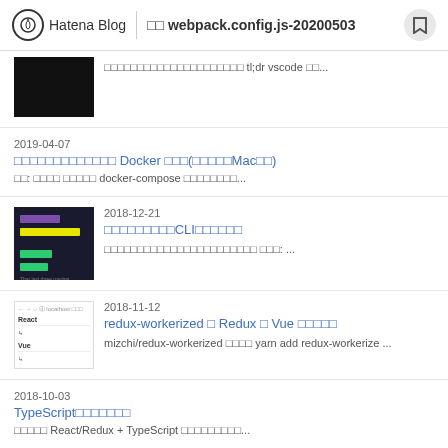Hatena Blog | webpack.config.js-20200503
□□□□□□□□□□□□□□□□□□□□□ tl;dr vscode □□...
2019-04-07
□□□□□□□□□□□□□ Docker □□□(□□□□□Mac□□)
□□: □□□□ □□□□□ docker-compose □□□□□□□□...
2018-12-21
□□□□□□□□□CLI□□□□□□
□□□□□□□□□□□□□□□□□□□□□□□ □□□: ...
2018-11-12
redux-workerized □ Redux □ Vue □□□□□
mizchi/redux-workerized □□□□ yarn add redux-workerize ...
2018-10-03
TypeScript□□□□□□□
□□□□□ React/Redux + TypeScript □□□□□□□□□...